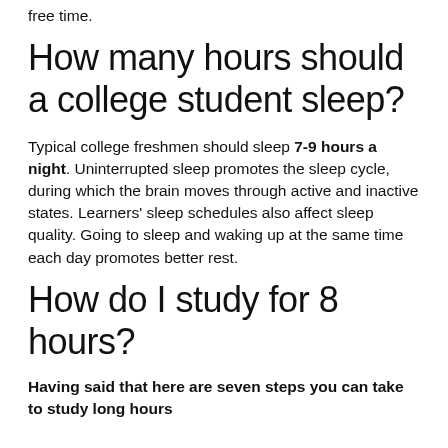free time.
How many hours should a college student sleep?
Typical college freshmen should sleep 7-9 hours a night. Uninterrupted sleep promotes the sleep cycle, during which the brain moves through active and inactive states. Learners' sleep schedules also affect sleep quality. Going to sleep and waking up at the same time each day promotes better rest.
How do I study for 8 hours?
Having said that here are seven steps you can take to study long hours